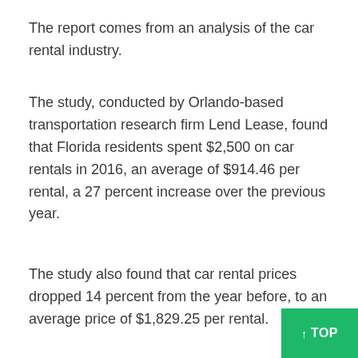The report comes from an analysis of the car rental industry.
The study, conducted by Orlando-based transportation research firm Lend Lease, found that Florida residents spent $2,500 on car rentals in 2016, an average of $914.46 per rental, a 27 percent increase over the previous year.
The study also found that car rental prices dropped 14 percent from the year before, to an average price of $1,829.25 per rental.